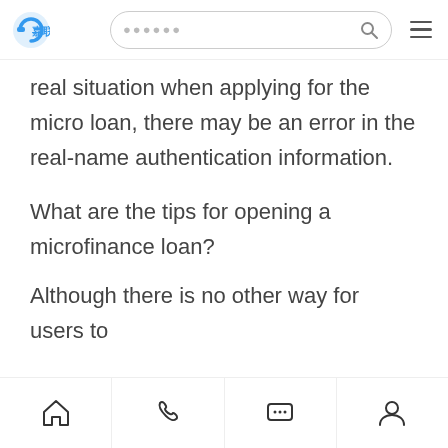嘉联立刷 [logo] [search bar] [menu]
real situation when applying for the micro loan, there may be an error in the real-name authentication information.
What are the tips for opening a microfinance loan?
Although there is no other way for users to
[home] [phone] [chat] [profile]